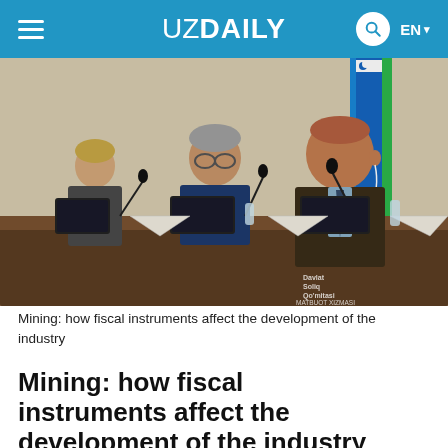UZ DAILY  EN
[Figure (photo): Officials seated at a conference table with microphones and tablets; a man in a dark jacket speaking with an earpiece, others listen; Uzbekistan flag visible in background. Watermark: Davlat Soliq Qo'mitasi Matbuot Xizmasi]
Mining: how fiscal instruments affect the development of the industry
Mining: how fiscal instruments affect the development of the industry